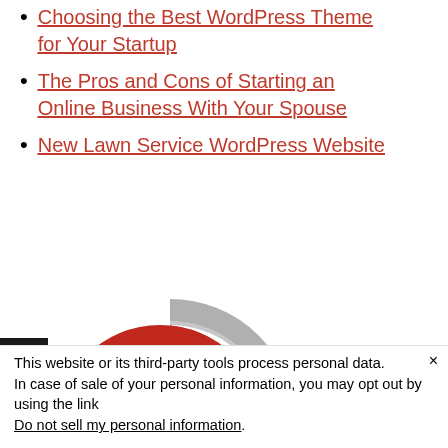Choosing the Best WordPress Theme for Your Startup
The Pros and Cons of Starting an Online Business With Your Spouse
New Lawn Service WordPress Website
[Figure (infographic): Circular infographic with a large red '9' on a red background with a grey ring, and text reading 'Online Marketing Methods to Grow' in grey beside it. A black accessibility icon with a figure is on the left edge.]
This website or its third-party tools process personal data.
In case of sale of your personal information, you may opt out by using the link
Do not sell my personal information.